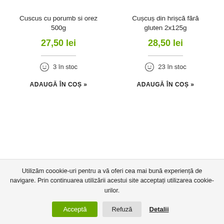Cuscus cu porumb si orez 500g
27,50 lei
3 în stoc
ADAUGĂ ÎN COȘ »
Cușcuș din hrișcă fără gluten 2x125g
28,50 lei
23 în stoc
ADAUGĂ ÎN COȘ »
Utilizăm coookie-uri pentru a vă oferi cea mai bună experiență de navigare. Prin continuarea utilizării acestui site acceptați utilizarea cookie-urilor.